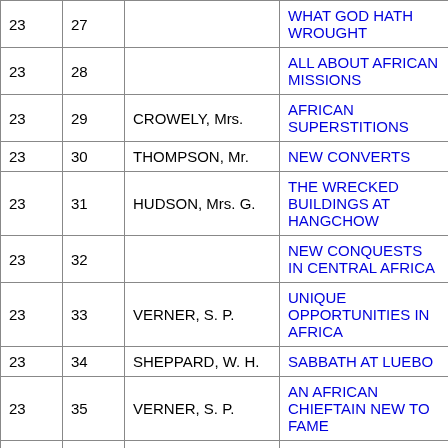| Col1 | Col2 | Author | Title |
| --- | --- | --- | --- |
| 23 | 27 |  | WHAT GOD HATH WROUGHT |
| 23 | 28 |  | ALL ABOUT AFRICAN MISSIONS |
| 23 | 29 | CROWELY, Mrs. | AFRICAN SUPERSTITIONS |
| 23 | 30 | THOMPSON, Mr. | NEW CONVERTS |
| 23 | 31 | HUDSON, Mrs. G. | THE WRECKED BUILDINGS AT HANGCHOW |
| 23 | 32 |  | NEW CONQUESTS IN CENTRAL AFRICA |
| 23 | 33 | VERNER, S. P. | UNIQUE OPPORTUNITIES IN AFRICA |
| 23 | 34 | SHEPPARD, W. H. | SABBATH AT LUEBO |
| 23 | 35 | VERNER, S. P. | AN AFRICAN CHIEFTAIN NEW TO FAME |
| 23 | 36 | VERNER, S. P. | THE DEATH OF BUNDU |